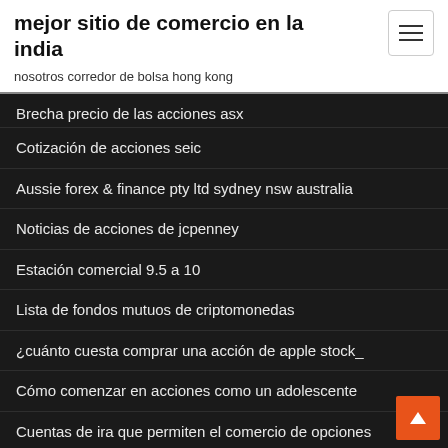mejor sitio de comercio en la india
nosotros corredor de bolsa hong kong
Brecha precio de las acciones asx
Cotización de acciones seic
Aussie forex & finance pty ltd sydney nsw australia
Noticias de acciones de jcpenney
Estación comercial 9.5 a 10
Lista de fondos mutuos de criptomonedas
¿cuánto cuesta comprar una acción de apple stock_
Cómo comenzar en acciones como un adolescente
Cuentas de ira que permiten el comercio de opciones
Término de contabilidad de stock libre